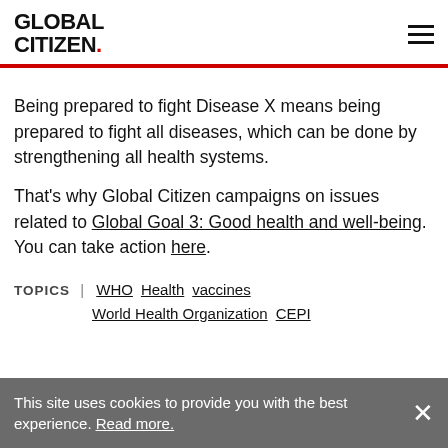GLOBAL CITIZEN.
Being prepared to fight Disease X means being prepared to fight all diseases, which can be done by strengthening all health systems.
That's why Global Citizen campaigns on issues related to Global Goal 3: Good health and well-being. You can take action here.
TOPICS | WHO  Health  vaccines  World Health Organization  CEPI
This site uses cookies to provide you with the best experience. Read more.